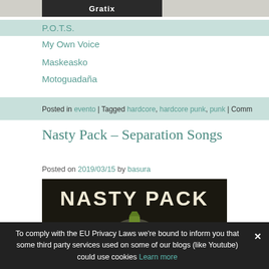[Figure (screenshot): Top partial image showing Gratix text/logo in dark background]
P.O.T.S.
My Own Voice
Maskeasko
Motoguadaña
Posted in evento | Tagged hardcore, hardcore punk, punk | Comm...
Nasty Pack – Separation Songs
Posted on 2019/03/15 by basura
[Figure (photo): Album cover for Nasty Pack – Separation Songs, dark background with grenade imagery and text NASTY PACK]
To comply with the EU Privacy Laws we're bound to inform you that some third party services used on some of our blogs (like Youtube) could use cookies Learn more